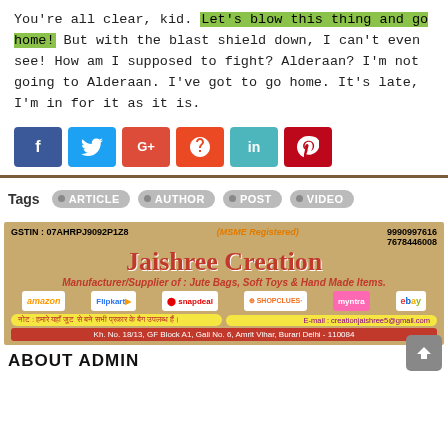You're all clear, kid. Let's blow this thing and go home! But with the blast shield down, I can't even see! How am I supposed to fight? Alderaan? I'm not going to Alderaan. I've got to go home. It's late, I'm in for it as it is.
[Figure (infographic): Social share buttons: Facebook (blue), Twitter (light blue), Google+ (red), StumbleUpon (orange-red), LinkedIn (teal), Pinterest (red)]
Tags   ARTICLE  AUTHOR  POST  VIDEO
[Figure (infographic): Jaishree Creation advertisement banner. GSTIN: 07AHRPJ9092P1Z8, MSME Registered, phone 9990997616 / 7678446008. Manufacturer/Supplier of: Jute Bags, Soft Toys & Hand Made Items. Logos: amazon, Flipkart, snapdeal, SHOPCLUES, myntra, ebay. Note in Hindi and email: creationjaishree5@gmail.com. Address: Kh. No. 18/13, GF Block A1, Gali No. 6, Amrit Vihar, Burari Delhi - 110084]
ABOUT ADMIN